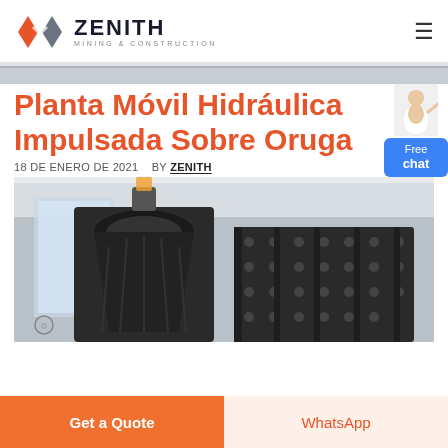[Figure (logo): Zenith Mining & Construction logo with geometric diamond/infinity shape in orange and grey, with text ZENITH MINING & CONSTRUCTION]
Planta Móvil Hidráulica Impulsada Sobre Oruga
18 DE ENERO DE 2021   BY ZENITH
[Figure (photo): Industrial photo of large black mining/crushing machinery equipment in a factory setting]
Get a Quote
WhatsApp